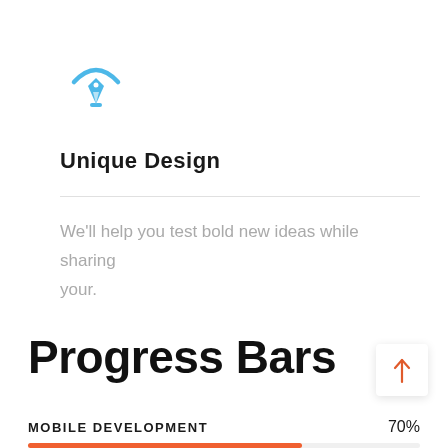[Figure (illustration): Blue pen/nib icon with circular arc above, representing design/creative concept]
Unique Design
We'll help you test bold new ideas while sharing your.
Progress Bars
MOBILE DEVELOPMENT   70%